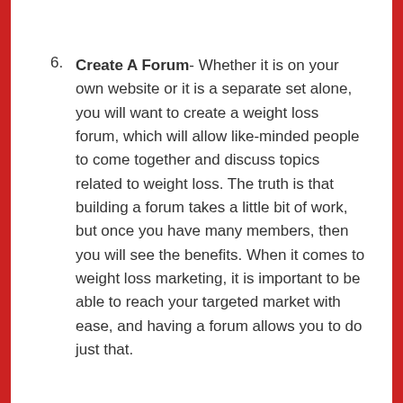6. Create A Forum- Whether it is on your own website or it is a separate set alone, you will want to create a weight loss forum, which will allow like-minded people to come together and discuss topics related to weight loss. The truth is that building a forum takes a little bit of work, but once you have many members, then you will see the benefits. When it comes to weight loss marketing, it is important to be able to reach your targeted market with ease, and having a forum allows you to do just that.